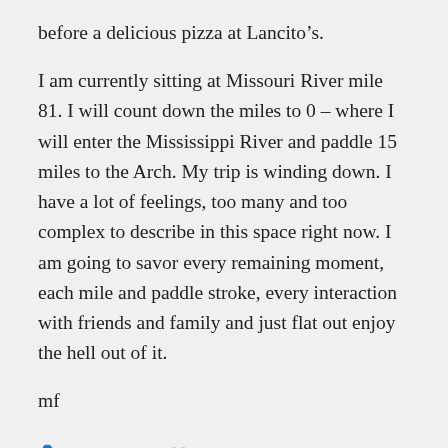before a delicious pizza at Lancito’s.
I am currently sitting at Missouri River mile 81. I will count down the miles to 0 – where I will enter the Mississippi River and paddle 15 miles to the Arch. My trip is winding down. I have a lot of feelings, too many and too complex to describe in this space right now. I am going to savor every remaining moment, each mile and paddle stroke, every interaction with friends and family and just flat out enjoy the hell out of it.
mf
paddlestlouis   Uncategorized   2 Comments   August 15, 2019   8 Minutes